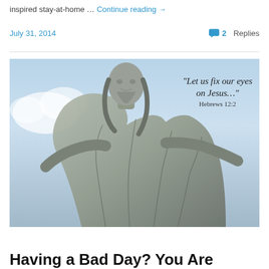inspired stay-at-home … Continue reading →
July 31, 2014
2 Replies
[Figure (photo): A marble/stone statue of Jesus Christ viewed from below against a light blue sky with clouds, with the text quote 'Let us fix our eyes on Jesus...' Hebrews 12:2 overlaid in the upper right]
Having a Bad Day? You Are